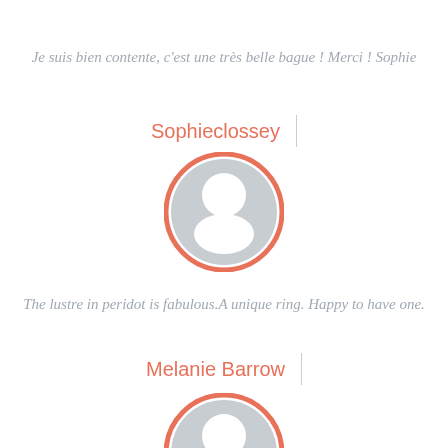Je suis bien contente, c'est une très belle bague ! Merci ! Sophie
Sophieclossey
[Figure (illustration): Default user avatar icon — circular avatar with salmon/coral border, grey silhouette of a person inside a white circle]
The lustre in peridot is fabulous.A unique ring. Happy to have one.
Melanie Barrow
[Figure (illustration): Default user avatar icon — circular avatar with salmon/coral border, grey silhouette of a person, partially cropped at bottom of page]